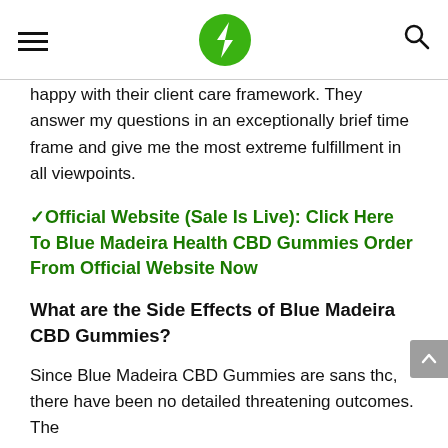[hamburger menu] [green lightning bolt logo] [search icon]
happy with their client care framework. They answer my questions in an exceptionally brief time frame and give me the most extreme fulfillment in all viewpoints.
✓Official Website (Sale Is Live): Click Here To Blue Madeira Health CBD Gummies Order From Official Website Now
What are the Side Effects of Blue Madeira CBD Gummies?
Since Blue Madeira CBD Gummies are sans thc, there have been no detailed threatening outcomes. The